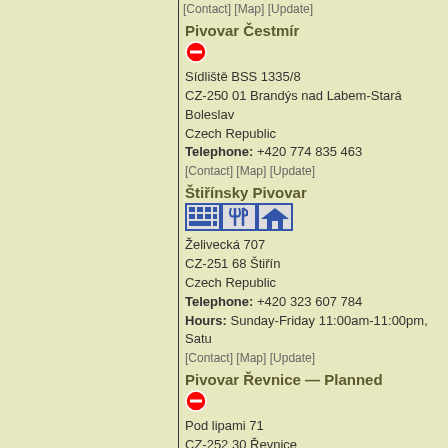[Contact] [Map] [Update]
Pivovar Čestmír
Sídliště BSS 1335/8
CZ-250 01 Brandýs nad Labem-Stará Boleslav
Czech Republic
Telephone: +420 774 835 463
[Contact] [Map] [Update]
Štiřínsky Pivovar
Želivecká 707
CZ-251 68 Štiřín
Czech Republic
Telephone: +420 323 607 784
Hours: Sunday-Friday 11:00am-11:00pm, Satu
[Contact] [Map] [Update]
Pivovar Řevnice — Planned
Pod lipami 71
CZ-252 30 Řevnice
Czech Republic
[Map] [Update]
1. Karlštejnský Mikropivovar